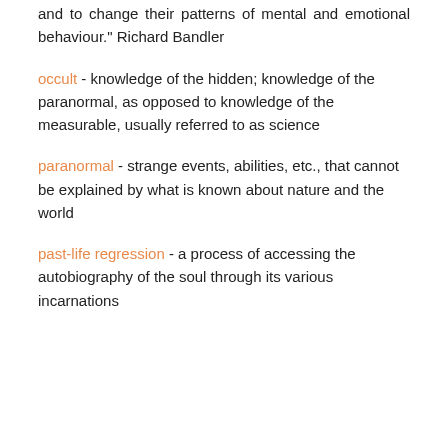and to change their patterns of mental and emotional behaviour." Richard Bandler
occult - knowledge of the hidden; knowledge of the paranormal, as opposed to knowledge of the measurable, usually referred to as science
paranormal - strange events, abilities, etc., that cannot be explained by what is known about nature and the world
past-life regression - a process of accessing the autobiography of the soul through its various incarnations